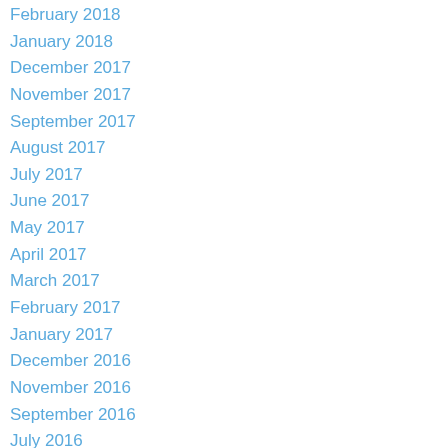February 2018
January 2018
December 2017
November 2017
September 2017
August 2017
July 2017
June 2017
May 2017
April 2017
March 2017
February 2017
January 2017
December 2016
November 2016
September 2016
July 2016
June 2016
March 2016
February 2016
December 2015